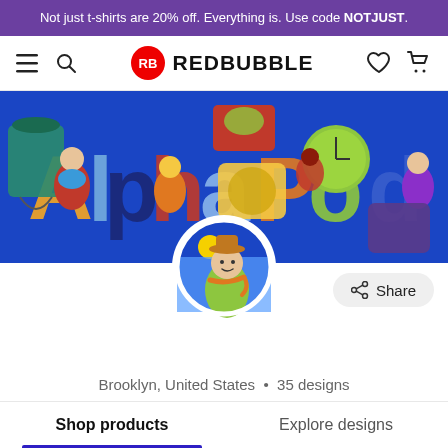Not just t-shirts are 20% off. Everything is. Use code NOTJUST.
[Figure (screenshot): Redbubble navigation bar with hamburger menu, search icon, Redbubble logo and wordmark, heart icon, and cart icon]
[Figure (illustration): Redbubble artist shop banner for 'alphapod' featuring colorful illustrated characters and the text 'AlphaPod' in large multicolored letters on a blue background, with various products displayed]
[Figure (illustration): Circular avatar showing a colorful illustrated character (a figure in a hat) against a blue sky background]
alphapod
Brooklyn, United States • 35 designs
View artist profile
Shop products
Explore designs